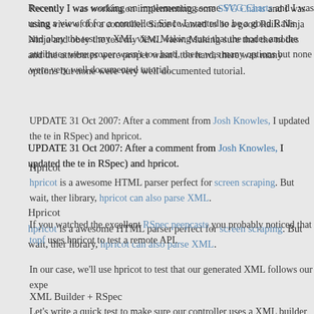Recently I was working on implementing some SVG Charts and I was using a XML view of for a controller. Since I wanted to be a good Rails Ninja and obey the test my XML view. Making sure that the nodes and the attributes were properly wasn't too hard, there was many options but none were very well documented tutorial.
UPDATE 31 Oct 2007: After a comment from Josh Knowles, I updated the test in RSpec) and hpricot.
Hpricot
hpricot is a awesome HTML parser perfect for screen scraping. But wait, there library, hpricot can also parse XML.
If you watched the excellent RSpec peepcasts you probably noticed that topf uses hpricot to test a remote API.
In our case, we'll use hpricot to test that our generated XML follows our expe
XML Builder + RSpec
Let's write a quick test to make sure our controller uses a XML builder view:
[Figure (screenshot): Code block showing Ruby/RSpec code with line numbers 1-4. Line 1: describe AveragesController, "handl... Line 2: (empty), Line 3: before do, Line 4: Average.stub!(:find).and_return]